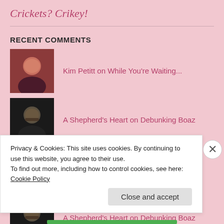Crickets? Crikey!
RECENT COMMENTS
Kim Petitt on While You're Waiting...
A Shepherd's Heart on Debunking Boaz
Danee on Debunking Boaz
A Shepherd's Heart on Debunking Boaz
Privacy & Cookies: This site uses cookies. By continuing to use this website, you agree to their use.
To find out more, including how to control cookies, see here: Cookie Policy
Close and accept